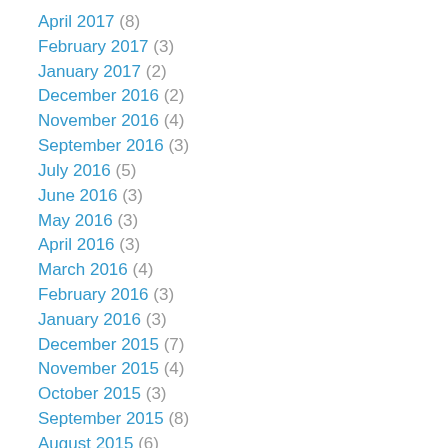April 2017 (8)
February 2017 (3)
January 2017 (2)
December 2016 (2)
November 2016 (4)
September 2016 (3)
July 2016 (5)
June 2016 (3)
May 2016 (3)
April 2016 (3)
March 2016 (4)
February 2016 (3)
January 2016 (3)
December 2015 (7)
November 2015 (4)
October 2015 (3)
September 2015 (8)
August 2015 (6)
July 2015 (6)
June 2015 (2)